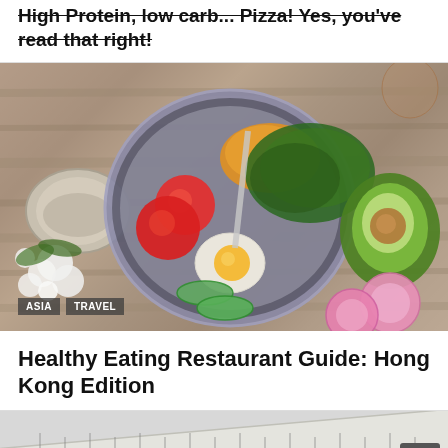High Protein, low carb... Pizza! Yes, you've read that right!
[Figure (photo): Top-down view of a healthy meal bowl with tomatoes, egg, greens, cucumber, radish slices, avocado, orange shredded carrot, and flowers on a wooden table. Tags: ASIA, TRAVEL]
Healthy Eating Restaurant Guide: Hong Kong Edition
[Figure (photo): Close-up of a tape measure on a light gray background]